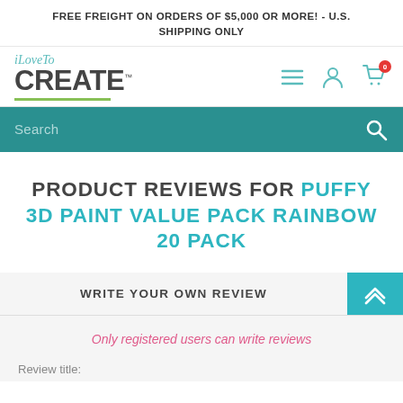FREE FREIGHT ON ORDERS OF $5,000 OR MORE! - U.S. SHIPPING ONLY
[Figure (logo): iLoveTo CREATE logo with green underline]
Search
PRODUCT REVIEWS FOR PUFFY 3D PAINT VALUE PACK RAINBOW 20 PACK
WRITE YOUR OWN REVIEW
Only registered users can write reviews
Review title: